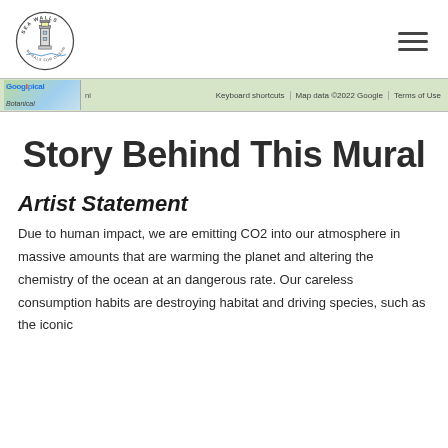Sea Walls logo and navigation menu
[Figure (screenshot): Google Maps strip showing 'Googlpical Botanical' label with map thumbnail, Keyboard shortcuts, Map data ©2022 Google, Terms of Use]
Story Behind This Mural
Artist Statement
Due to human impact, we are emitting CO2 into our atmosphere in massive amounts that are warming the planet and altering the chemistry of the ocean at an dangerous rate. Our careless consumption habits are destroying habitat and driving species, such as the iconic coral reefs, into extinction.